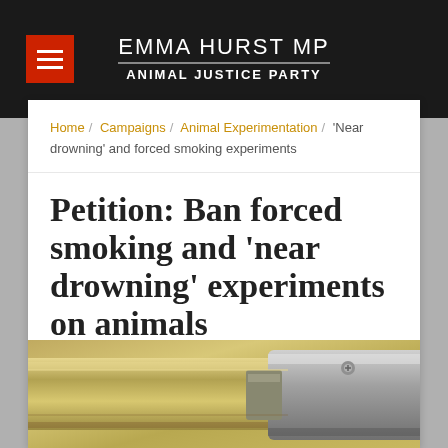EMMA HURST MP / ANIMAL JUSTICE PARTY
Home / Campaigns / Animal Experimentation / 'Near drowning' and forced smoking experiments
Petition: Ban forced smoking and 'near drowning' experiments on animals
[Figure (photo): Close-up photograph of a metallic cylindrical laboratory device or apparatus, gold/silver toned, appears to be experimental equipment used for animal inhalation experiments]